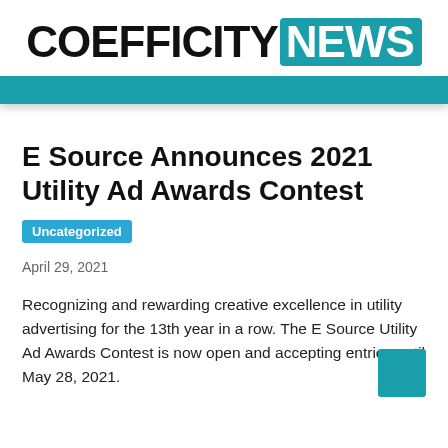COEFFICITY NEWS
E Source Announces 2021 Utility Ad Awards Contest
Uncategorized
April 29, 2021
Recognizing and rewarding creative excellence in utility advertising for the 13th year in a row. The E Source Utility Ad Awards Contest is now open and accepting entries until May 28, 2021.